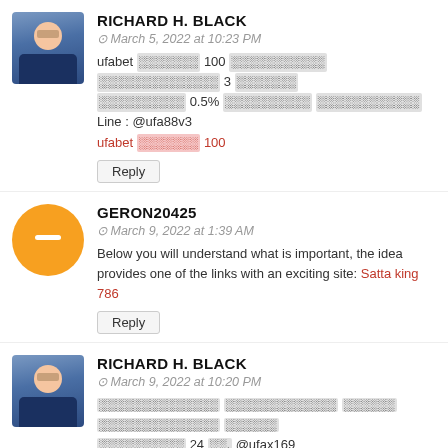RICHARD H. BLACK
March 5, 2022 at 10:23 PM
ufabet [Thai] 100 [Thai] [Thai] 3 [Thai] [Thai] 0.5% [Thai] [Thai] Line : @ufa88v3 ufabet [Thai] 100
Reply
GERON20425
March 9, 2022 at 1:39 AM
Below you will understand what is important, the idea provides one of the links with an exciting site: Satta king 786
Reply
RICHARD H. BLACK
March 9, 2022 at 10:20 PM
[Thai] [Thai] [Thai] 24 [Thai]. @ufax169 [Thai]
Reply
ONCAINO